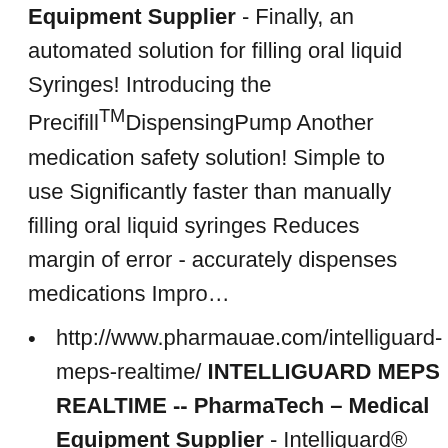Equipment Supplier - Finally, an automated solution for filling oral liquid Syringes! Introducing the Precifill™DispensingPump Another medication safety solution! Simple to use Significantly faster than manually filling oral liquid syringes Reduces margin of error - accurately dispenses medications Impro…
http://www.pharmauae.com/intelliguard-meps-realtime/ INTELLIGUARD MEPS REALTIME -- PharmaTech – Medical Equipment Supplier - Intelliguard® RFID Solutions for critical pharmaceutical inventory are key to ensuring patient safety